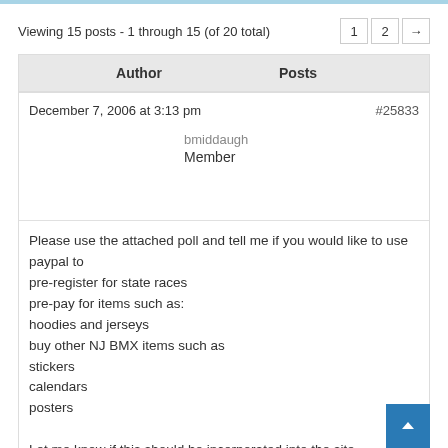Viewing 15 posts - 1 through 15 (of 20 total)
| Author | Posts |
| --- | --- |
| December 7, 2006 at 3:13 pm | #25833 |
| bmiddaugh
Member | Please use the attached poll and tell me if you would like to use paypal to
pre-register for state races
pre-pay for items such as:
hoodies and jerseys
buy other NJ BMX items such as
stickers
calendars
posters

Let me know if this should be incorporated into the site. Apparently Jeff already had it set up at one point but it was not used. |